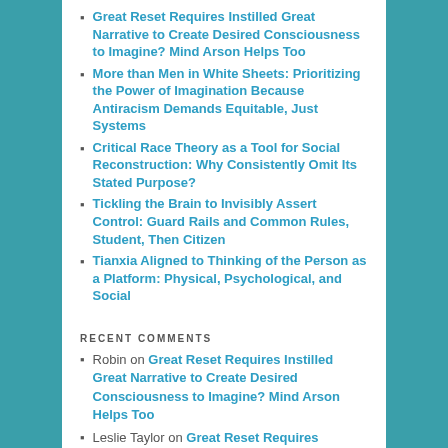Great Reset Requires Instilled Great Narrative to Create Desired Consciousness to Imagine? Mind Arson Helps Too
More than Men in White Sheets: Prioritizing the Power of Imagination Because Antiracism Demands Equitable, Just Systems
Critical Race Theory as a Tool for Social Reconstruction: Why Consistently Omit Its Stated Purpose?
Tickling the Brain to Invisibly Assert Control: Guard Rails and Common Rules, Student, Then Citizen
Tianxia Aligned to Thinking of the Person as a Platform: Physical, Psychological, and Social
RECENT COMMENTS
Robin on Great Reset Requires Instilled Great Narrative to Create Desired Consciousness to Imagine? Mind Arson Helps Too
Leslie Taylor on Great Reset Requires Instilled Great Narrative to Create Desired Consciousness to